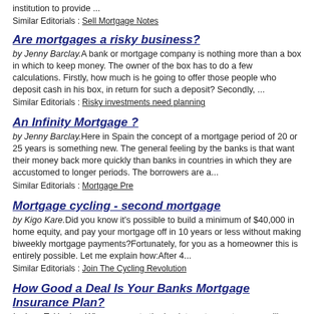institution to provide ...
Similar Editorials : Sell Mortgage Notes
Are mortgages a risky business?
by Jenny Barclay.A bank or mortgage company is nothing more than a box in which to keep money. The owner of the box has to do a few calculations. Firstly, how much is he going to offer those people who deposit cash in his box, in return for such a deposit? Secondly, ...
Similar Editorials : Risky investments need planning
An Infinity Mortgage ?
by Jenny Barclay.Here in Spain the concept of a mortgage period of 20 or 25 years is something new. The general feeling by the banks is that want their money back more quickly than banks in countries in which they are accustomed to longer periods. The borrowers are a...
Similar Editorials : Mortgage Pre
Mortgage cycling - second mortgage
by Kigo Kare.Did you know it's possible to build a minimum of $40,000 in home equity, and pay your mortgage off in 10 years or less without making biweekly mortgage payments?Fortunately, for you as a homeowner this is entirely possible. Let me explain how:After 4...
Similar Editorials : Join The Cycling Revolution
How Good a Deal Is Your Banks Mortgage Insurance Plan?
by Ivon T. Hughes.When you go to the bank to get a mortgage, you'll inevitably be asked to take out mortgage insurance. The idea behind mortgage insurance is simply that if something happens to you or your spouse then your loan will be paid off which...